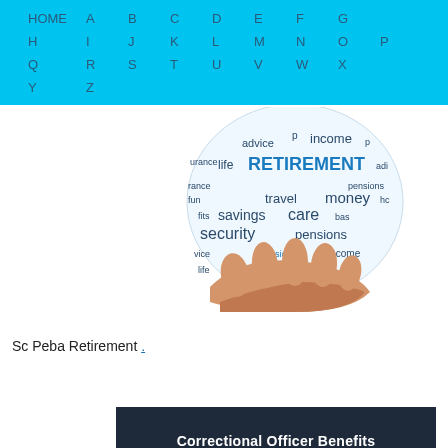HOME A B C D E F G H I J K L M N O P Q R S T U V W X Y Z
[Figure (illustration): A hand holding a globe-shaped word cloud with retirement-related terms: RETIREMENT (large, blue), income, life, advice, savings, security, travel, care, pensions, money, insurance]
Sc Peba Retirement .
[Figure (illustration): Dark navy banner with bold white text reading 'Correctional Officer Benefits']